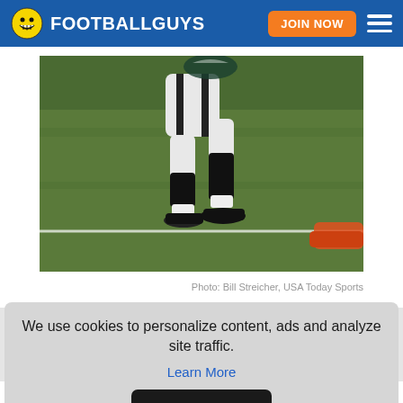FOOTBALLGUYS — JOIN NOW
[Figure (photo): Football player running on grass field, wearing black and white uniform with black cleats. Another player's foot visible at right edge.]
Photo: Bill Streicher, USA Today Sports
We use cookies to personalize content, ads and analyze site traffic.
Learn More
OKAY
These contests are intended to be fun as you're